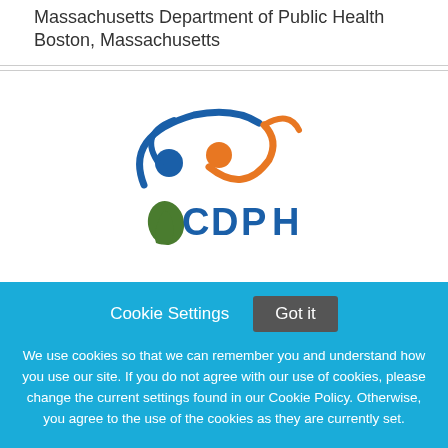Massachusetts Department of Public Health
Boston, Massachusetts
[Figure (logo): CDPH logo with stylized blue and orange human figures and green element, with text 'CDPH']
Cookie Settings   Got it
We use cookies so that we can remember you and understand how you use our site. If you do not agree with our use of cookies, please change the current settings found in our Cookie Policy. Otherwise, you agree to the use of the cookies as they are currently set.